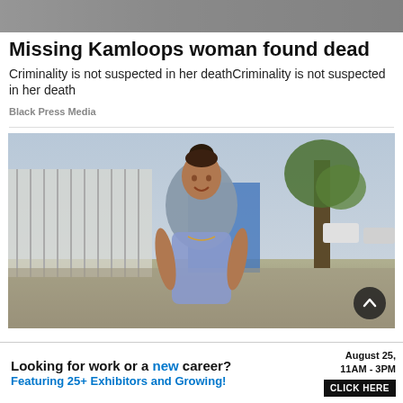[Figure (photo): Partial photo at top of page, cropped strip]
Missing Kamloops woman found dead
Criminality is not suspected in her deathCriminality is not suspected in her death
Black Press Media
[Figure (photo): Photo of a young woman with dark hair in a bun, wearing a grey short-sleeve fitted dress, smiling outdoors on a sidewalk with a fence, blue building, trees and street in the background]
Looking for work or a new career? August 25, 11AM - 3PM Featuring 25+ Exhibitors and Growing! CLICK HERE